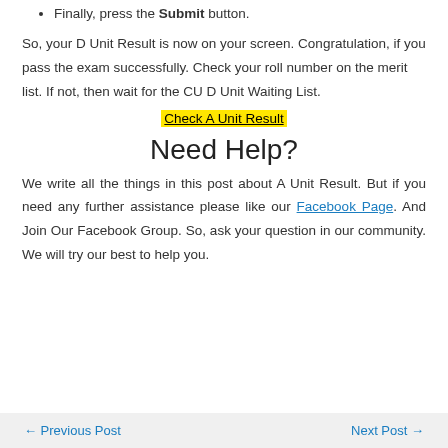Finally, press the Submit button.
So, your D Unit Result is now on your screen. Congratulation, if you pass the exam successfully. Check your roll number on the merit list. If not, then wait for the CU D Unit Waiting List.
Check A Unit Result
Need Help?
We write all the things in this post about A Unit Result. But if you need any further assistance please like our Facebook Page. And Join Our Facebook Group. So, ask your question in our community. We will try our best to help you.
← Previous Post    Next Post →